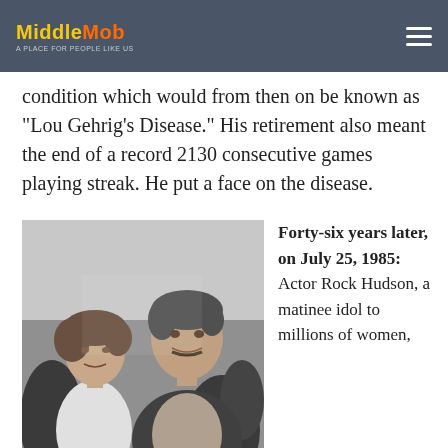MiddleMob — [hamburger menu]
condition which would from then on be known as "Lou Gehrig's Disease." His retirement also meant the end of a record 2130 consecutive games playing streak. He put a face on the disease.
[Figure (photo): Black and white photograph of a woman with short hair and a man with a mustache, both smiling, at what appears to be an indoor social event.]
Forty-six years later, on July 25, 1985: Actor Rock Hudson, a matinee idol to millions of women,